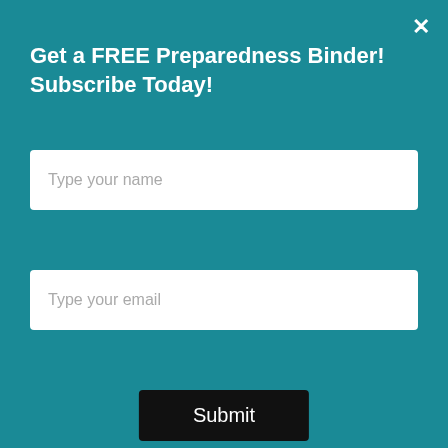Get a FREE Preparedness Binder! Subscribe Today!
Type your name
Type your email
Submit
we're headed into times of similarly
Promoted
[Figure (photo): Sliced beets on a red plate with a video play button overlay]
Dying Liver? 4 Warning Signs Of Dying Liver (#2 is Scary)
🔥 3,842
[Figure (photo): Woman with toned abs and a spoonful of spice]
A Teaspoon On An Empty Stomach Burns Fat Like Crazy!
🔥 127,659